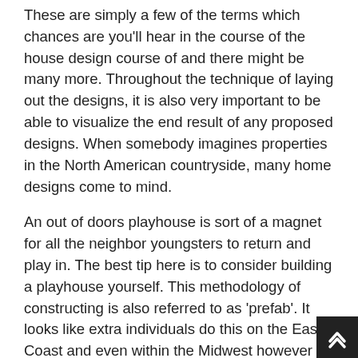These are simply a few of the terms which chances are you'll hear in the course of the house design course of and there might be many more. Throughout the technique of laying out the designs, it is also very important to be able to visualize the end result of any proposed designs. When somebody imagines properties in the North American countryside, many home designs come to mind.
An out of doors playhouse is sort of a magnet for all the neighbor youngsters to return and play in. The best tip here is to consider building a playhouse yourself. This methodology of constructing is also referred to as 'prefab'. It looks like extra individuals do this on the East Coast and even within the Midwest however it is never seen on the West Coast of the United States. In historic times these had been often ornamental and had carvings or exquisite particulars on them, however